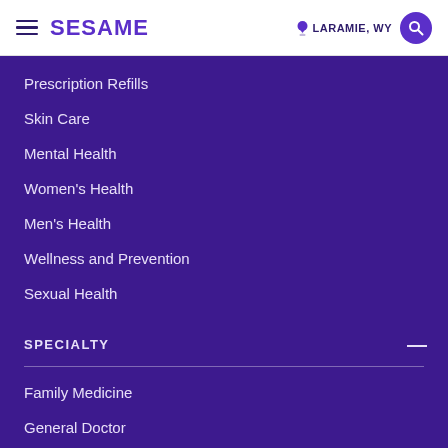SESAME — LARAMIE, WY
Prescription Refills
Skin Care
Mental Health
Women's Health
Men's Health
Wellness and Prevention
Sexual Health
SPECIALTY
Family Medicine
General Doctor
Primary Care